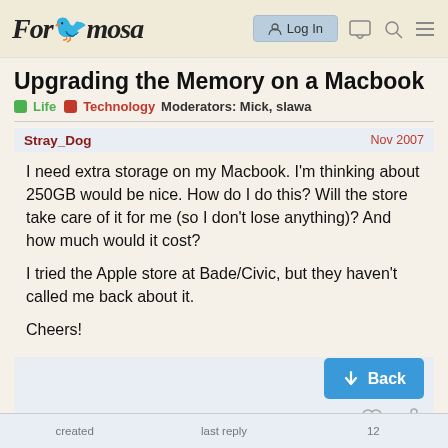Forumosa — Log In
Upgrading the Memory on a Macbook
Life  Technology  Moderators: Mick, slawa
Stray_Dog  Nov 2007
I need extra storage on my Macbook. I'm thinking about 250GB would be nice. How do I do this? Will the store take care of it for me (so I don't lose anything)? And how much would it cost?
I tried the Apple store at Bade/Civic, but they haven't called me back about it.
Cheers!
created   last reply   12